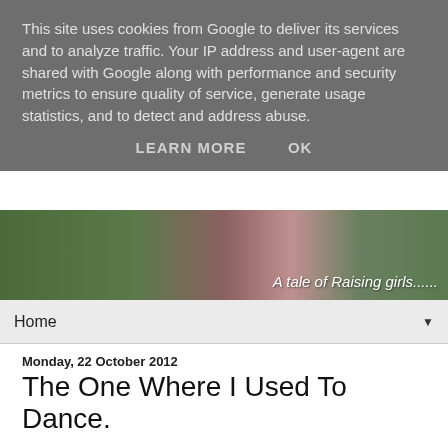This site uses cookies from Google to deliver its services and to analyze traffic. Your IP address and user-agent are shared with Google along with performance and security metrics to ensure quality of service, generate usage statistics, and to detect and address abuse.
LEARN MORE   OK
[Figure (photo): Blog header banner showing a girl outdoors with grass and foliage background, with text 'A tale of Raising girls......' overlaid in cursive font]
Home ▼
Monday, 22 October 2012
The One Where I Used To Dance.
Even though it's good to focus on where you are going, sometimes, it's nice to also remember the places that you have been and the path that your life has taken. My life now is vastly different to my life pre-kids - as I'm sure is the case for many people. Pre-children, one of the things I most loved to do was dance. Although I never had the body to be a